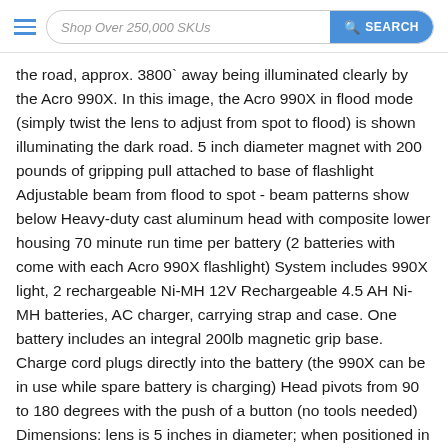Shop Over 250,000 SKUs  SEARCH
the road, approx. 3800` away being illuminated clearly by the Acro 990X. In this image, the Acro 990X in flood mode (simply twist the lens to adjust from spot to flood) is shown illuminating the dark road. 5 inch diameter magnet with 200 pounds of gripping pull attached to base of flashlight Adjustable beam from flood to spot - beam patterns show below Heavy-duty cast aluminum head with composite lower housing 70 minute run time per battery (2 batteries with come with each Acro 990X flashlight) System includes 990X light, 2 rechargeable Ni-MH 12V Rechargeable 4.5 AH Ni-MH batteries, AC charger, carrying strap and case. One battery includes an integral 200lb magnetic grip base. Charge cord plugs directly into the battery (the 990X can be in use while spare battery is charging) Head pivots from 90 to 180 degrees with the push of a button (no tools needed) Dimensions: lens is 5 inches in diameter; when positioned in the 90 degree angle, the unit stands 12 inches high and 8 inches long; when fully extended, the unit is 15.5 inches in length Lens focus ring adjusts approximately 1/4 turn for focus adjustment to beam